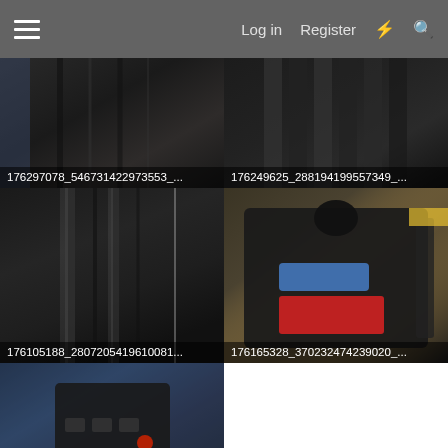Log in  Register
[Figure (photo): Close-up of black plastic grooved surface, labeled 176297078_546731422973553_...]
[Figure (photo): Close-up of stacked black magazines or similar items, labeled 176249625_288194199557349_...]
[Figure (photo): Close-up of black ribbed plastic surface, labeled 176105188_2807205419610081...]
[Figure (photo): Black device/tool with blue and red label sticker on tan background, labeled 176165328_370232474239020_...]
[Figure (photo): Black electronic device/connector on blue surface, partial view, no label shown]